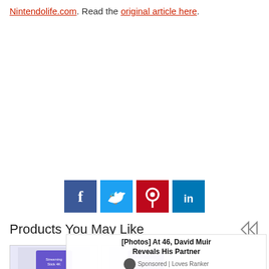Nintendolife.com. Read the original article here.
[Figure (other): Social sharing buttons: Facebook (blue), Twitter (light blue), Pinterest (red), LinkedIn (blue)]
Products You May Like
[Figure (other): Ad overlay: [Photos] At 46, David Muir Reveals His Partner. Sponsored | Loves Ranker]
[Figure (photo): Roku Streaming Stick 4K product image]
[Figure (photo): Roku Express 4K+ product image]